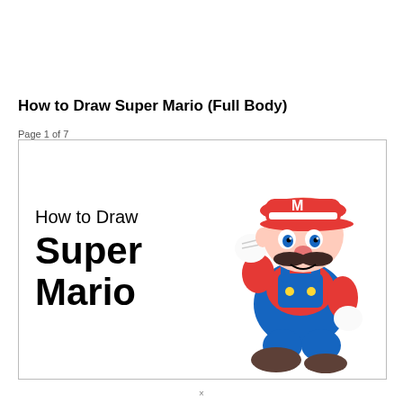How to Draw Super Mario (Full Body)
Page 1 of 7
[Figure (illustration): Title card image showing text 'How to Draw Super Mario' on the left and an illustration of Super Mario character (red hat with M, blue overalls, red shirt, white gloves, brown shoes, black mustache, jumping pose with fist raised) on the right, inside a bordered rectangle.]